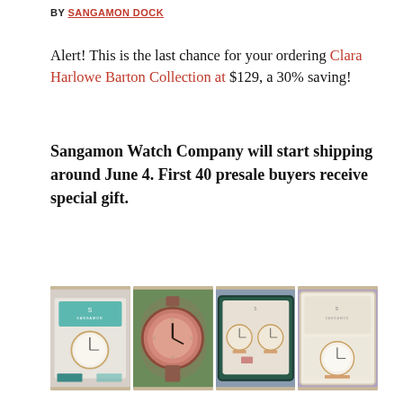BY SANGAMON DOCK
Alert! This is the last chance for your ordering Clara Harlowe Barton Collection at $129, a 30% saving!
Sangamon Watch Company will start shipping around June 4. First 40 presale buyers receive special gift.
[Figure (photo): Four product photos showing Sangamon watch collection in boxes and close-up]
Clara Harlowe Barton Collection is a tribute to one of America's greatest humanitarians through Barton's